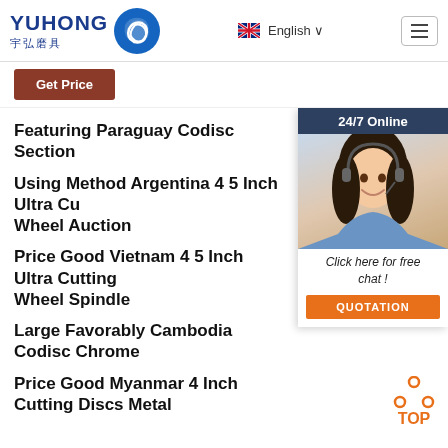[Figure (logo): YUHONG 宇弘磨具 logo with blue wave circle emblem]
English ∨
[Figure (infographic): Hamburger menu icon button]
Get Price
[Figure (photo): 24/7 Online chat widget with female agent wearing headset, Click here for free chat!, QUOTATION button]
Featuring Paraguay Codisc Section
Using Method Argentina 4 5 Inch Ultra Cutting Wheel Auction
Price Good Vietnam 4 5 Inch Ultra Cutting Wheel Spindle
Large Favorably Cambodia Codisc Chrome
Price Good Myanmar 4 Inch Cutting Discs Metal
[Figure (infographic): TOP scroll-to-top button with orange dots and text]